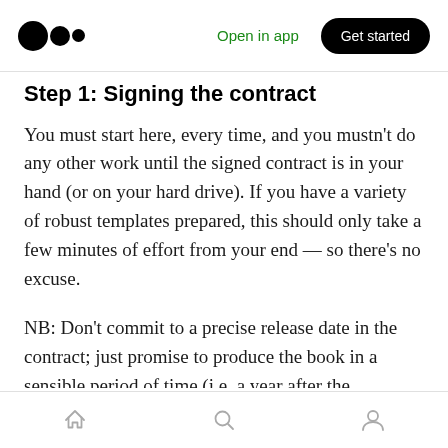Open in app | Get started
Step 1: Signing the contract
You must start here, every time, and you mustn't do any other work until the signed contract is in your hand (or on your hard drive). If you have a variety of robust templates prepared, this should only take a few minutes of effort from your end — so there's no excuse.
NB: Don't commit to a precise release date in the contract; just promise to produce the book in a sensible period of time (i.e. a year after the
Home | Search | Profile